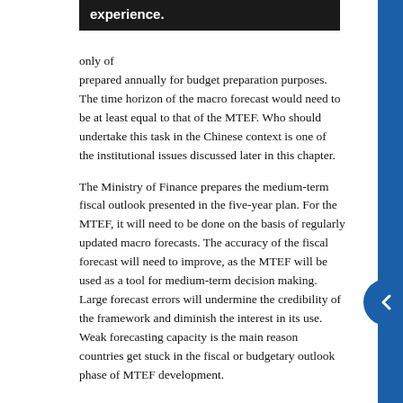only experience.
prepared annually for budget preparation purposes. The time horizon of the macro forecast would need to be at least equal to that of the MTEF. Who should undertake this task in the Chinese context is one of the institutional issues discussed later in this chapter.
The Ministry of Finance prepares the medium-term fiscal outlook presented in the five-year plan. For the MTEF, it will need to be done on the basis of regularly updated macro forecasts. The accuracy of the fiscal forecast will need to improve, as the MTEF will be used as a tool for medium-term decision making. Large forecast errors will undermine the credibility of the framework and diminish the interest in its use. Weak forecasting capacity is the main reason countries get stuck in the fiscal or budgetary outlook phase of MTEF development.
MTEF Coverage
In principle, an MTEF functions best as an instrument of fiscal policy and discipline if it covers as large a part of the public sector as possible. Only then are limits on